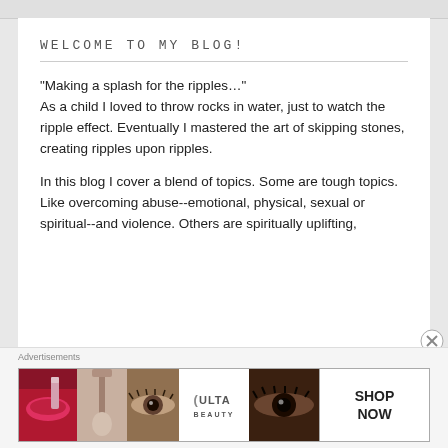WELCOME TO MY BLOG!
"Making a splash for the ripples…"
As a child I loved to throw rocks in water, just to watch the ripple effect. Eventually I mastered the art of skipping stones, creating ripples upon ripples.

In this blog I cover a blend of topics. Some are tough topics. Like overcoming abuse--emotional, physical, sexual or spiritual--and violence. Others are spiritually uplifting,
Advertisements
[Figure (infographic): ULTA beauty advertisement banner with images of lips, makeup brush, eye, ULTA logo, smoky eye, and SHOP NOW button]